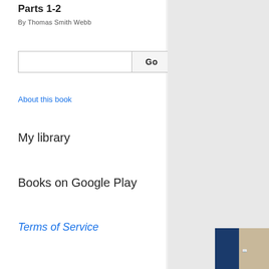Parts 1-2
By Thomas Smith Webb
About this book
My library
Books on Google Play
Terms of Service
[Figure (photo): Partial view of a book cover image visible in the bottom-right corner of the right panel, showing blue and beige/cream colors with partial text.]